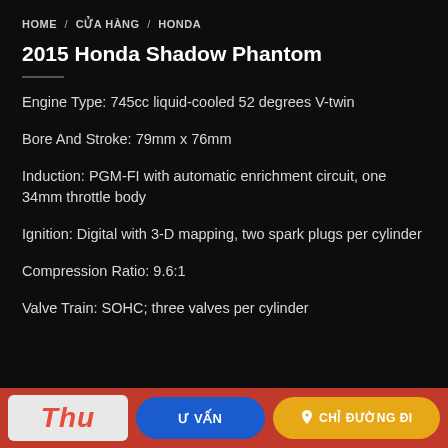HOME / CỬA HÀNG / HONDA
2015 Honda Shadow Phantom
Engine Type: 745cc liquid-cooled 52 degrees V-twin
Bore And Stroke: 79mm x 76mm
Induction: PGM-FI with automatic enrichment circuit, one 34mm throttle body
Ignition: Digital with 3-D mapping, two spark plugs per cylinder
Compression Ratio: 9.6:1
Valve Train: SOHC; three valves per cylinder